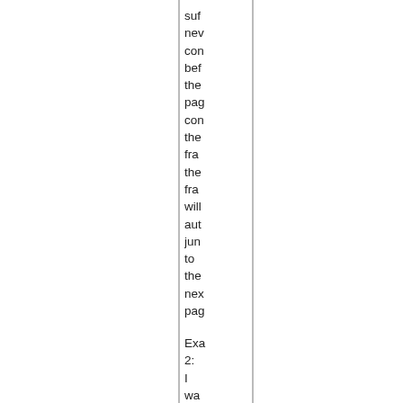suf
nev
con
bef
the
pag
con
the
fra
the
fra
will
aut
jun
to
the
nex
pag
Exa
2:
I
wa
tho